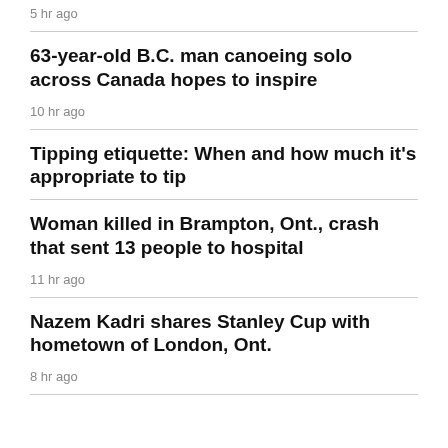5 hr ago
63-year-old B.C. man canoeing solo across Canada hopes to inspire
10 hr ago
Tipping etiquette: When and how much it's appropriate to tip
Woman killed in Brampton, Ont., crash that sent 13 people to hospital
11 hr ago
Nazem Kadri shares Stanley Cup with hometown of London, Ont.
8 hr ago